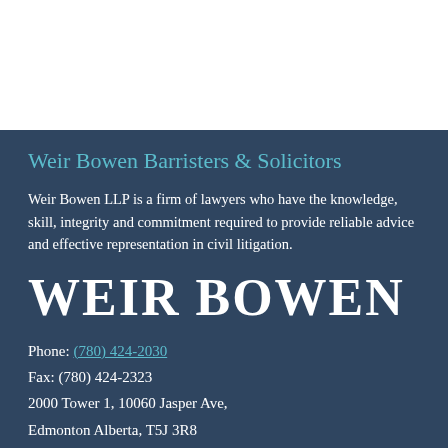Weir Bowen Barristers & Solicitors
Weir Bowen LLP is a firm of lawyers who have the knowledge, skill, integrity and commitment required to provide reliable advice and effective representation in civil litigation.
WEIR BOWEN
Phone: (780) 424-2030
Fax: (780) 424-2323
2000 Tower 1, 10060 Jasper Ave,
Edmonton Alberta, T5J 3R8